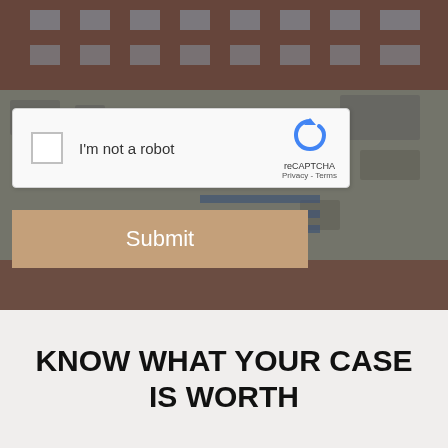[Figure (photo): Aerial view of a brick building rooftop with HVAC units, with a dark overlay filter applied]
[Figure (screenshot): reCAPTCHA widget with checkbox labeled 'I'm not a robot' and the reCAPTCHA logo with Privacy and Terms links]
Submit
KNOW WHAT YOUR CASE IS WORTH